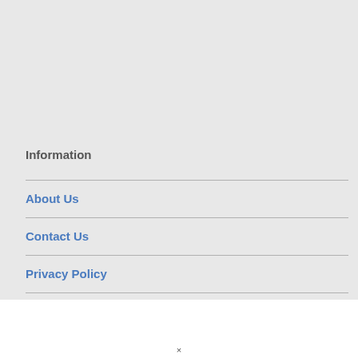Information
About Us
Contact Us
Privacy Policy
×